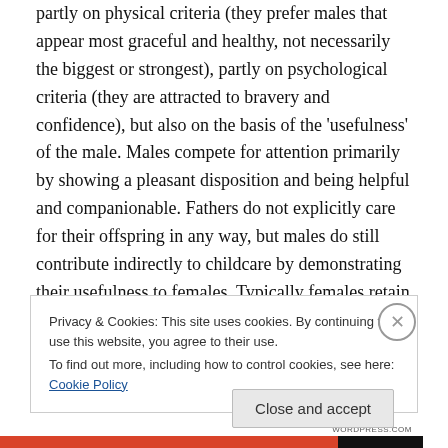partly on physical criteria (they prefer males that appear most graceful and healthy, not necessarily the biggest or strongest), partly on psychological criteria (they are attracted to bravery and confidence), but also on the basis of the 'usefulness' of the male. Males compete for attention primarily by showing a pleasant disposition and being helpful and companionable. Fathers do not explicitly care for their offspring in any way, but males do still contribute indirectly to childcare by demonstrating their usefulness to females. Typically females retain roles involving primary hunting, construction, and primary
Privacy & Cookies: This site uses cookies. By continuing to use this website, you agree to their use.
To find out more, including how to control cookies, see here: Cookie Policy